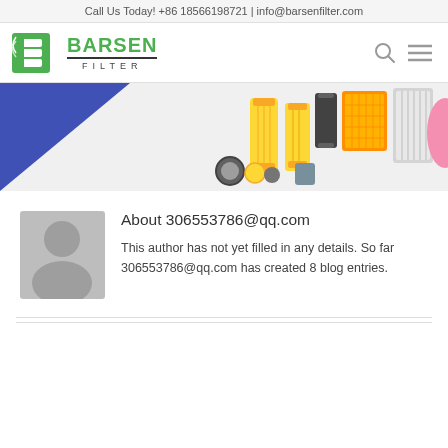Call Us Today! +86 18566198721 | info@barsenfilter.com
[Figure (logo): Barsen Filter logo with green B icon and BARSEN FILTER text]
[Figure (photo): Banner showing various industrial filter products including cylindrical and rectangular filters]
About 306553786@qq.com
This author has not yet filled in any details. So far 306553786@qq.com has created 8 blog entries.